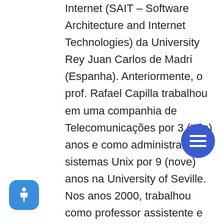Internet (SAIT – Software Architecture and Internet Technologies) da University Rey Juan Carlos de Madri (Espanha). Anteriormente, o prof. Rafael Capilla trabalhou em uma companhia de Telecomunicações por 3 (três) anos e como administrador de sistemas Unix por 9 (nove) anos na University of Seville. Nos anos 2000, trabalhou como professor assistente e associado na Technical University of Madrid (UPM) e University Rey Juan Carlos (URJC). Possui 18 anos de experiência no ensino em níveis de graduação, mestrado e doutorado em Engenharia de Telecomunicações e em Ciência da Computação. Participou dos projetos de pesquisa europeus FLEX e SeCSE e de vários projetos de pesquisa financiados pelo Governo da Espanha